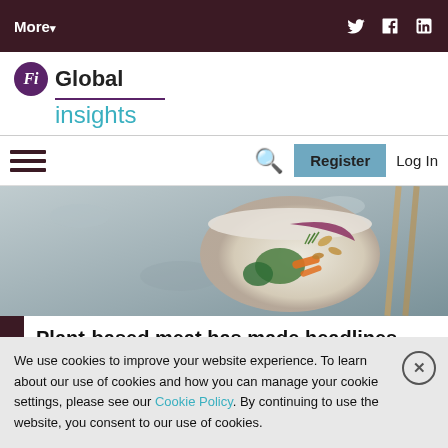More▾   [Twitter] [Facebook] [LinkedIn]
[Figure (logo): Fi Global Insights logo — purple circle with Fi text, bold Global text, teal underline, teal 'insights' text below]
☰  🔍  Register  Log In
[Figure (photo): Hero photo of a colorful vegetable grain bowl with cashews, carrots, broccoli, beets and herbs on a gray stone surface]
Plant-based meat has made headlines across the world, while fish alternatives h...
We use cookies to improve your website experience. To learn about our use of cookies and how you can manage your cookie settings, please see our Cookie Policy. By continuing to use the website, you consent to our use of cookies.